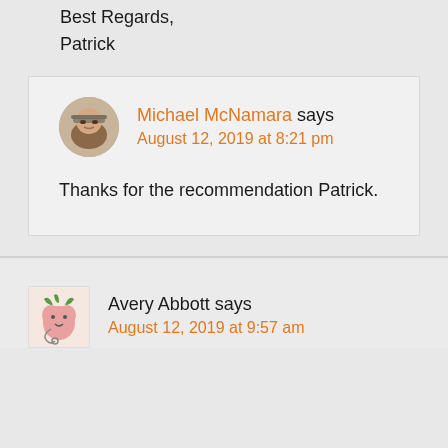Best Regards,
Patrick
Michael McNamara says
August 12, 2019 at 8:21 pm
Thanks for the recommendation Patrick.
Avery Abbott says
August 12, 2019 at 9:57 am